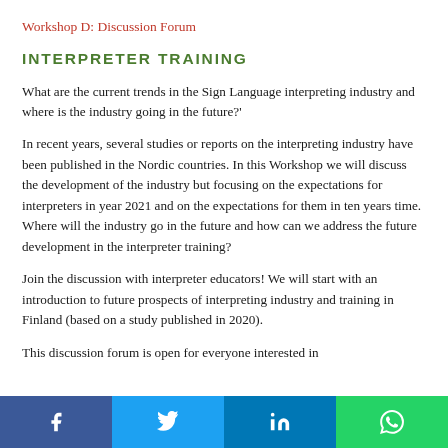Workshop D: Discussion Forum
INTERPRETER TRAINING
What are the current trends in the Sign Language interpreting industry and where is the industry going in the future?'
In recent years, several studies or reports on the interpreting industry have been published in the Nordic countries. In this Workshop we will discuss the development of the industry but focusing on the expectations for interpreters in year 2021 and on the expectations for them in ten years time. Where will the industry go in the future and how can we address the future development in the interpreter training?
Join the discussion with interpreter educators! We will start with an introduction to future prospects of interpreting industry and training in Finland (based on a study published in 2020).
This discussion forum is open for everyone interested in